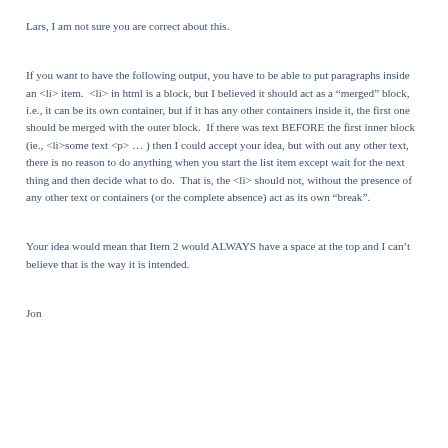Lars, I am not sure you are correct about this.
If you want to have the following output, you have to be able to put paragraphs inside an <li> item.  <li> in html is a block, but I believed it should act as a "merged" block, i.e., it can be its own container, but if it has any other containers inside it, the first one should be merged with the outer block.  If there was text BEFORE the first inner block (ie., <li>some text <p> … ) then I could accept your idea, but with out any other text, there is no reason to do anything when you start the list item except wait for the next thing and then decide what to do.  That is, the <li> should not, without the presence of any other text or containers (or the complete absence) act as its own "break".
Your idea would mean that Item 2 would ALWAYS have a space at the top and I can't believe that is the way it is intended.
Jon